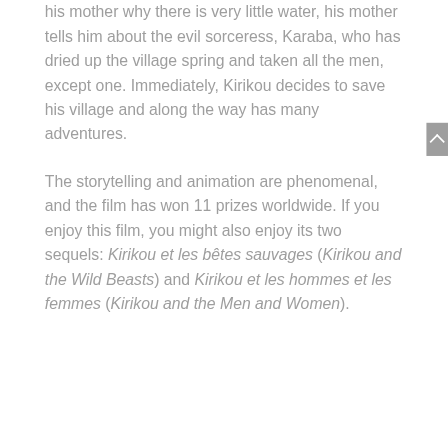his mother why there is very little water, his mother tells him about the evil sorceress, Karaba, who has dried up the village spring and taken all the men, except one. Immediately, Kirikou decides to save his village and along the way has many adventures.
The storytelling and animation are phenomenal, and the film has won 11 prizes worldwide. If you enjoy this film, you might also enjoy its two sequels: Kirikou et les bêtes sauvages (Kirikou and the Wild Beasts) and Kirikou et les hommes et les femmes (Kirikou and the Men and Women).